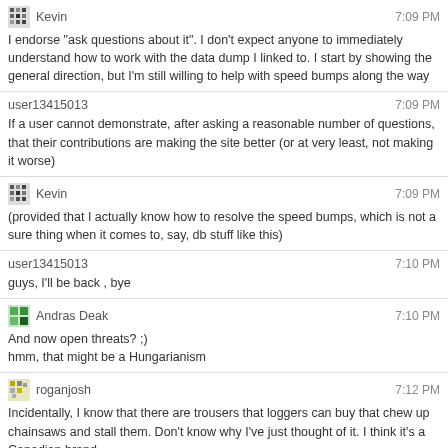Kevin 7:09 PM
I endorse "ask questions about it". I don't expect anyone to immediately understand how to work with the data dump I linked to. I start by showing the general direction, but I'm still willing to help with speed bumps along the way
user13415013 7:09 PM
If a user cannot demonstrate, after asking a reasonable number of questions, that their contributions are making the site better (or at very least, not making it worse)
Kevin 7:09 PM
(provided that I actually know how to resolve the speed bumps, which is not a sure thing when it comes to, say, db stuff like this)
user13415013 7:10 PM
guys, I'll be back , bye
Andras Deak 7:10 PM
And now open threats? ;)
hmm, that might be a Hungarianism
roganjosh 7:12 PM
Incidentally, I know that there are trousers that loggers can buy that chew up chainsaws and stall them. Don't know why I've just thought of it. I think it's a Canadian brand
Andras Deak 7:13 PM
Yup, right there with finger-proof tablesaw breaks brakes (actually both)
Kevin 7:13 PM